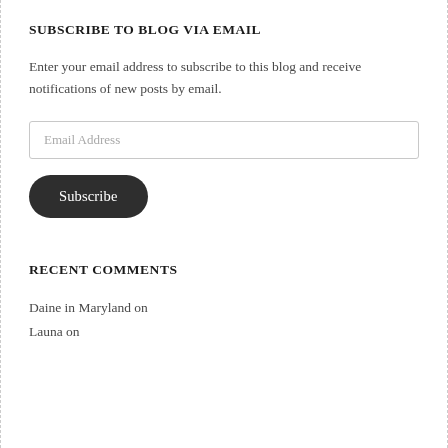SUBSCRIBE TO BLOG VIA EMAIL
Enter your email address to subscribe to this blog and receive notifications of new posts by email.
[Figure (other): Email address input field with placeholder text 'Email Address']
[Figure (other): Subscribe button, dark rounded pill shape with white text 'Subscribe']
RECENT COMMENTS
Daine in Maryland on
Launa on